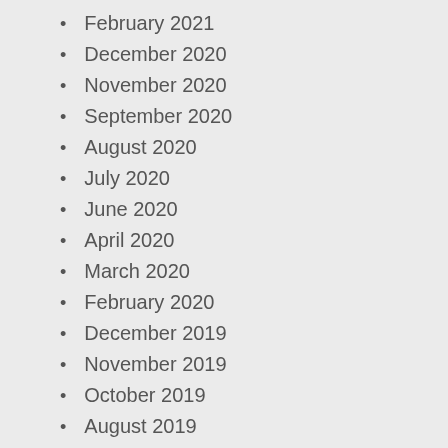February 2021
December 2020
November 2020
September 2020
August 2020
July 2020
June 2020
April 2020
March 2020
February 2020
December 2019
November 2019
October 2019
August 2019
June 2019
April 2019
March 2019
February 2019